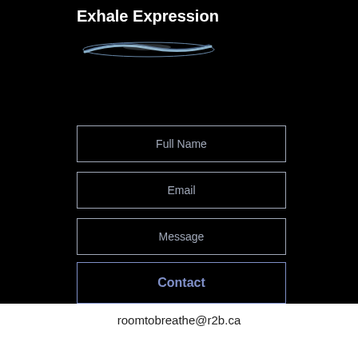Exhale Expression
[Figure (illustration): A dark brushstroke or fish/leaf shape in blue-grey tones on black background, used as a logo or decorative element beneath the title]
Full Name
Email
Message
Contact
[Figure (illustration): An upward-pointing arrow icon in white, centered at bottom right of the black section]
roomtobreathe@r2b.ca